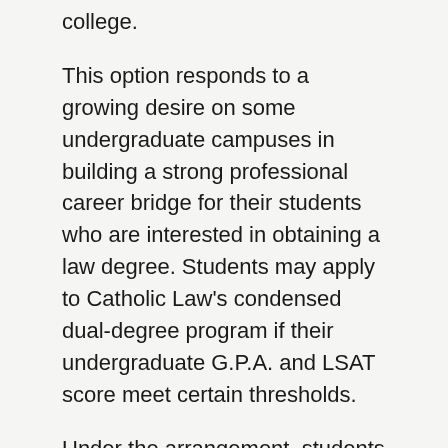college.
This option responds to a growing desire on some undergraduate campuses in building a strong professional career bridge for their students who are interested in obtaining a law degree. Students may apply to Catholic Law's condensed dual-degree program if their undergraduate G.P.A. and LSAT score meet certain thresholds.
Under the arrangement, students (with the cooperation of their undergraduate institution) will receive credit towards a bachelor's degree for law school courses. Typically, such course credits would apply toward meeting elective or distributive requirements. Less often, law school course credit could be allowed to fulfill undergraduate major requirements.